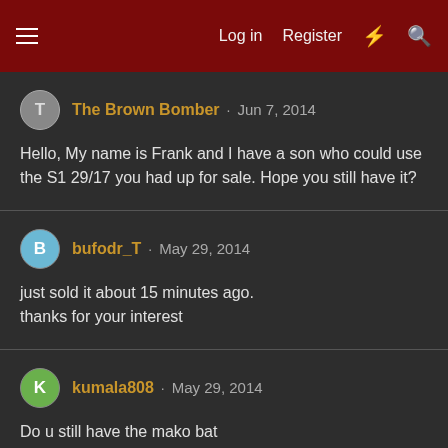Log in  Register
The Brown Bomber · Jun 7, 2014
Hello, My name is Frank and I have a son who could use the S1 29/17 you had up for sale. Hope you still have it?
bufodr_T · May 29, 2014
just sold it about 15 minutes ago.
thanks for your interest
kumala808 · May 29, 2014
Do u still have the mako bat